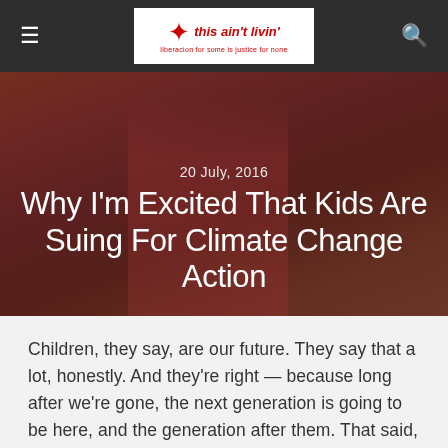this ain't livin' — liberacion for some is justice for none
[Figure (photo): Hero image of a child jumping with arms raised, overlaid with dark red tint, showing date and article title]
Why I'm Excited That Kids Are Suing For Climate Change Action
Children, they say, are our future. They say that a lot, honestly. And they're right — because long after we're gone, the next generation is going to be here, and the generation after them. That said, thanks to our own negligence and poor policies, things aren't looking great for future generations. Climate change is a huge threat to the globe's wellbeing, we've been thoroughly warned